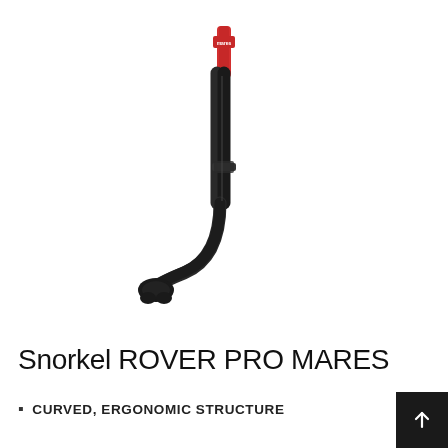[Figure (photo): A Mares Rover Pro snorkel in black with a red top section and mouthpiece, curved ergonomic shape, shown on white background.]
Snorkel ROVER PRO MARES
CURVED, ERGONOMIC STRUCTURE